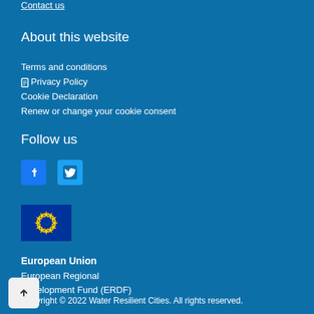Contact us
About this website
Terms and conditions
Privacy Policy
Cookie Declaration
Renew or change your cookie consent
Follow us
[Figure (illustration): Facebook and Twitter social media icons]
[Figure (logo): European Union flag with yellow stars on blue background]
European Union
European Regional Development Fund (ERDF)
Copyright © 2022 Water Resilient Cities. All rights reserved.